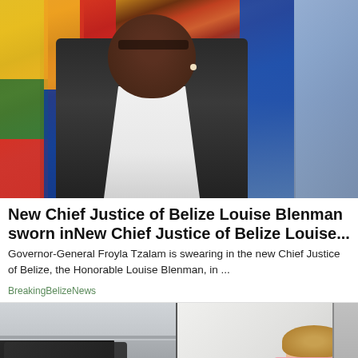[Figure (photo): Woman in judicial robes and glasses standing in front of colorful flags]
New Chief Justice of Belize Louise Blenman sworn inNew Chief Justice of Belize Louise...
Governor-General Froyla Tzalam is swearing in the new Chief Justice of Belize, the Honorable Louise Blenman, in ...
BreakingBelizeNews
[Figure (photo): Two-panel image: left shows a wall with dark mold/damage, right shows a woman in a pink shirt resting her head on a surface in distress]